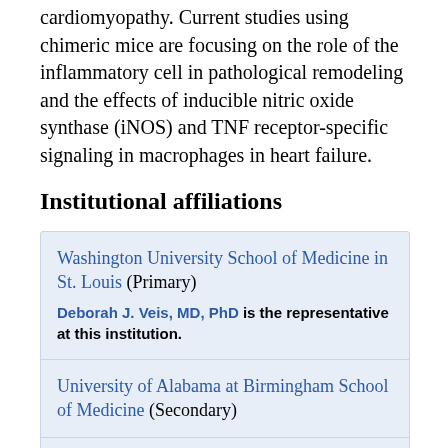cardiomyopathy. Current studies using chimeric mice are focusing on the role of the inflammatory cell in pathological remodeling and the effects of inducible nitric oxide synthase (iNOS) and TNF receptor-specific signaling in macrophages in heart failure.
Institutional affiliations
Washington University School of Medicine in St. Louis (Primary) — Deborah J. Veis, MD, PhD is the representative at this institution.
University of Alabama at Birmingham School of Medicine (Secondary)
University of Louisville School of Medicine